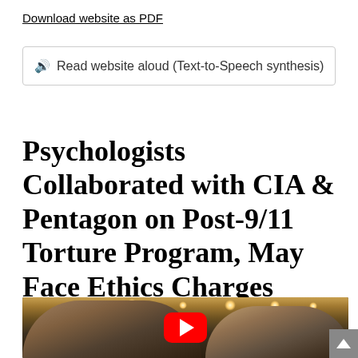Download website as PDF
🔊 Read website aloud (Text-to-Speech synthesis)
Psychologists Collaborated with CIA & Pentagon on Post-9/11 Torture Program, May Face Ethics Charges
[Figure (photo): Two men in a dimly lit banquet/conference hall setting, with a YouTube play button overlay in the center of the image.]